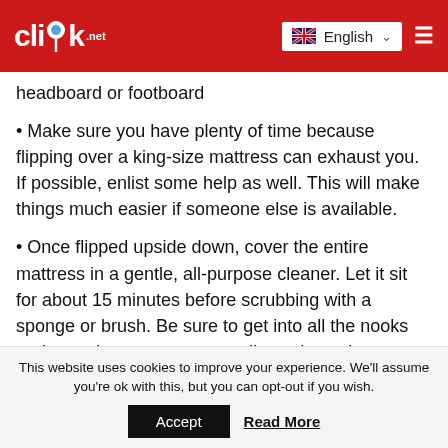cliYk .net | English
headboard or footboard
• Make sure you have plenty of time because flipping over a king-size mattress can exhaust you. If possible, enlist some help as well. This will make things much easier if someone else is available.
• Once flipped upside down, cover the entire mattress in a gentle, all-purpose cleaner. Let it sit for about 15 minutes before scrubbing with a sponge or brush. Be sure to get into all the nooks and crannies to remove any dirt or dust mites.
This website uses cookies to improve your experience. We'll assume you're ok with this, but you can opt-out if you wish.